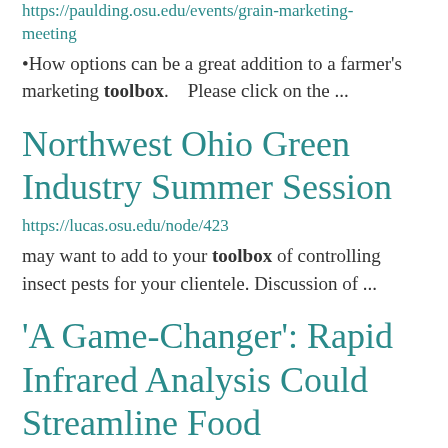https://paulding.osu.edu/events/grain-marketing-meeting
•How options can be a great addition to a farmer's marketing toolbox.   Please click on the ...
Northwest Ohio Green Industry Summer Session
https://lucas.osu.edu/node/423
may want to add to your toolbox of controlling insect pests for your clientele. Discussion of ...
'A Game-Changer': Rapid Infrared Analysis Could Streamline Food